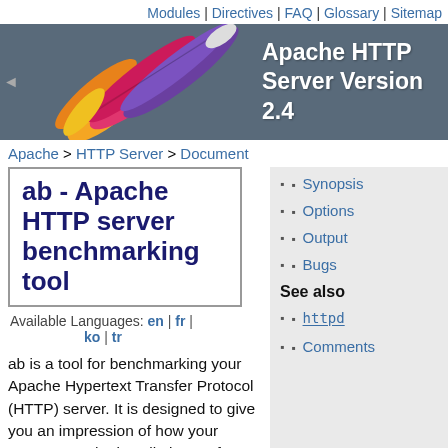Modules | Directives | FAQ | Glossary | Sitemap
[Figure (logo): Apache HTTP Server Version 2.4 banner with colorful feather logo on dark blue-grey background]
Apache > HTTP Server > Document
ab - Apache HTTP server benchmarking tool
Available Languages: en | fr | ko | tr
Synopsis
Options
Output
Bugs
See also
httpd
Comments
ab is a tool for benchmarking your Apache Hypertext Transfer Protocol (HTTP) server. It is designed to give you an impression of how your current Apache installation performs. This especially shows you how many requests